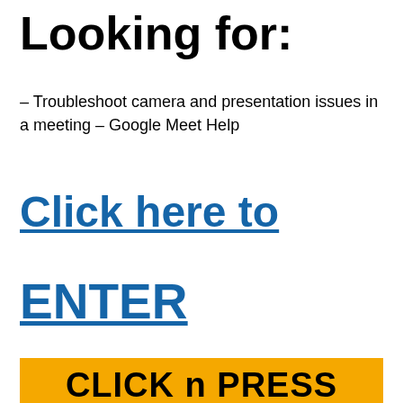Looking for:
– Troubleshoot camera and presentation issues in a meeting – Google Meet Help
Click here to
ENTER
CLICK n PRESS